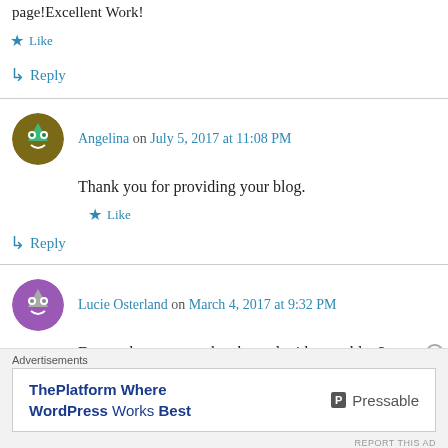page!Excellent Work!
Like
Reply
Angelina on July 5, 2017 at 11:08 PM
Thank you for providing your blog.
Like
Reply
Lucie Osterland on March 4, 2017 at 9:32 PM
Do you have a youtube channel with your blog?
Advertisements
ThePlatform Where WordPress Works Best
Pressable